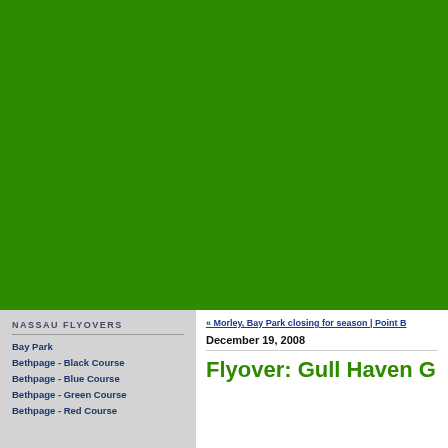[Figure (photo): Large green banner/background image covering the top portion of the webpage]
NASSAU FLYOVERS
Bay Park
Bethpage - Black Course
Bethpage - Blue Course
Bethpage - Green Course
Bethpage - Red Course
« Morley, Bay Park closing for season | Point B
December 19, 2008
Flyover: Gull Haven G